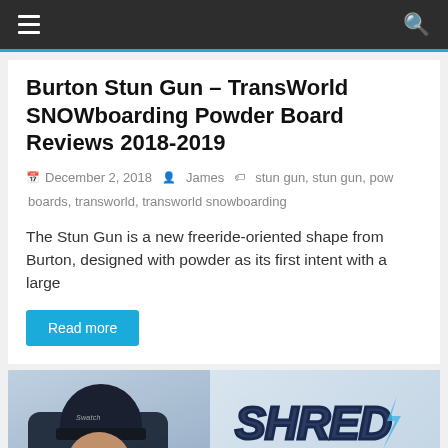☰  [navigation bar]  🔍
Burton Stun Gun – TransWorld SNOWboarding Powder Board Reviews 2018-2019
December 2, 2018   James   stun gun, stun gun, pow boards, transworld, transworld snowboarding
The Stun Gun is a new freeride-oriented shape from Burton, designed with powder as its first intent with a large
Read more
[Figure (photo): Photo of a person wearing a dark Swatch beanie hat with stylized 'Shred Hacks' text logo on the right side]